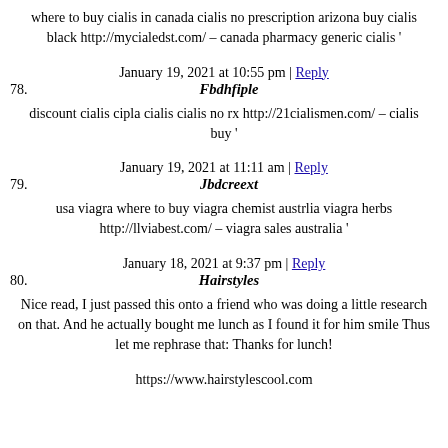where to buy cialis in canada cialis no prescription arizona buy cialis black http://mycialedst.com/ – canada pharmacy generic cialis '
January 19, 2021 at 10:55 pm | Reply
78. Fbdhfiple
discount cialis cipla cialis cialis no rx http://21cialismen.com/ – cialis buy '
January 19, 2021 at 11:11 am | Reply
79. Jbdcreext
usa viagra where to buy viagra chemist austrlia viagra herbs http://llviabest.com/ – viagra sales australia '
January 18, 2021 at 9:37 pm | Reply
80. Hairstyles
Nice read, I just passed this onto a friend who was doing a little research on that. And he actually bought me lunch as I found it for him smile Thus let me rephrase that: Thanks for lunch!
https://www.hairstylescool.com